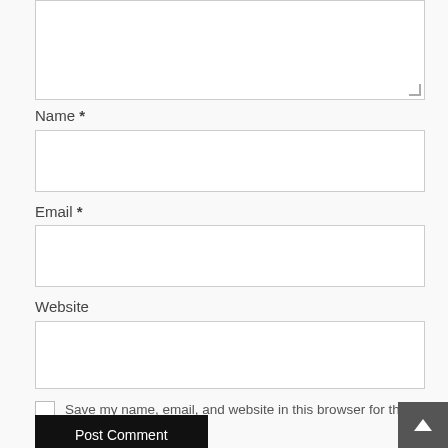[Figure (screenshot): A textarea input box (form field for comment text), partially visible at the top of the page, with a resize handle in the bottom-right corner]
Name *
[Figure (screenshot): A text input box for Name field]
Email *
[Figure (screenshot): A text input box for Email field]
Website
[Figure (screenshot): A text input box for Website field]
Save my name, email, and website in this browser for the next time I comment.
Post Comment